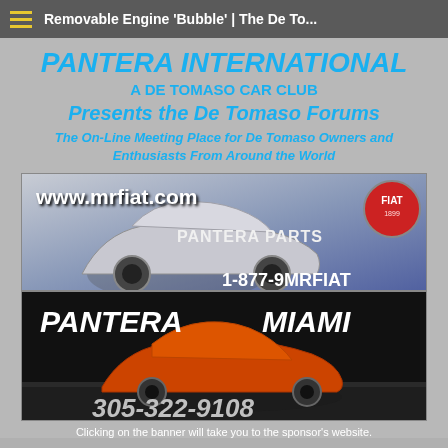Removable Engine 'Bubble' | The De To...
PANTERA INTERNATIONAL
A DE TOMASO CAR CLUB
Presents the De Tomaso Forums
The On-Line Meeting Place for De Tomaso Owners and Enthusiasts From Around the World
[Figure (photo): Advertisement banner for www.mrfiat.com showing a silver Pantera sports car, FIAT logo, text 'PANTERA PARTS' and phone number 1-877-9MRFIAT]
[Figure (photo): Advertisement banner for Pantera Miami showing an orange Pantera car on a stage/display, with phone number 305-322-9108]
Clicking on the banner will take you to the sponsor's website.